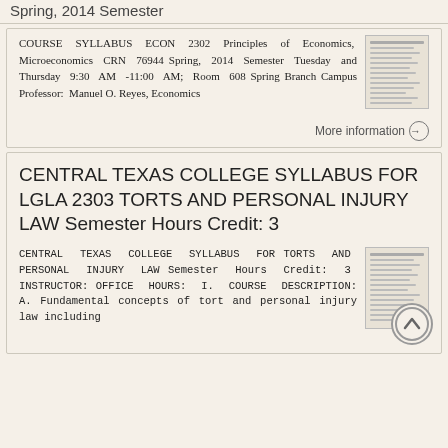Spring, 2014 Semester
COURSE SYLLABUS ECON 2302 Principles of Economics, Microeconomics CRN 76944 Spring, 2014 Semester Tuesday and Thursday 9:30 AM -11:00 AM; Room 608 Spring Branch Campus Professor: Manuel O. Reyes, Economics
More information →
CENTRAL TEXAS COLLEGE SYLLABUS FOR LGLA 2303 TORTS AND PERSONAL INJURY LAW Semester Hours Credit: 3
CENTRAL TEXAS COLLEGE SYLLABUS FOR TORTS AND PERSONAL INJURY LAW Semester Hours Credit: 3 INSTRUCTOR: OFFICE HOURS: I. COURSE DESCRIPTION: A. Fundamental concepts of tort and personal injury law including